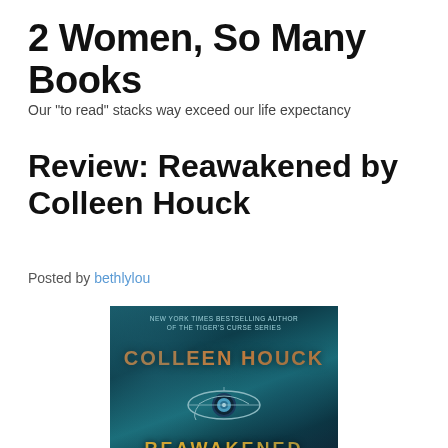2 Women, So Many Books
Our "to read" stacks way exceed our life expectancy
Review: Reawakened by Colleen Houck
Posted by bethlylou
[Figure (photo): Book cover of 'Reawakened' by Colleen Houck, showing a teal/dark background with an Eye of Horus motif and the author name and title in gold/copper lettering. Top text reads 'NEW YORK TIMES BESTSELLING AUTHOR OF THE TIGER'S CURSE SERIES'.]